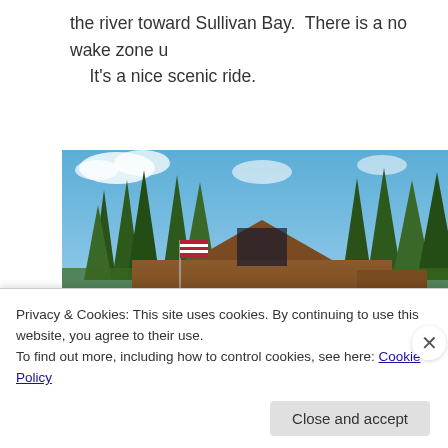the river toward Sullivan Bay.  There is a no wake zone u
    It's a nice scenic ride.
[Figure (photo): Outdoor photo of a log cabin style restaurant/lodge building with a large deck, surrounded by tall pine trees under a blue sky with white clouds. An American flag is visible.]
Privacy & Cookies: This site uses cookies. By continuing to use this website, you agree to their use.
To find out more, including how to control cookies, see here: Cookie Policy
Close and accept